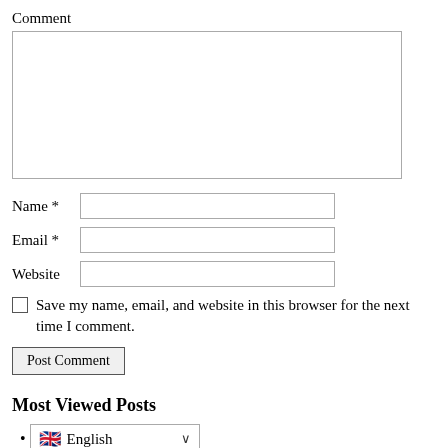Comment
Name *
Email *
Website
Save my name, email, and website in this browser for the next time I comment.
Post Comment
Most Viewed Posts
English